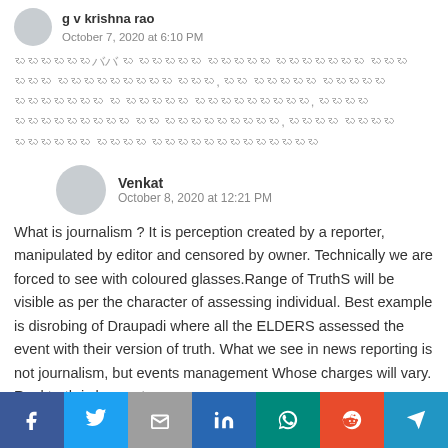g v krishna rao
October 7, 2020 at 6:10 PM
[Telugu script comment text]
Venkat
October 8, 2020 at 12:21 PM
What is journalism ? It is perception created by a reporter, manipulated by editor and censored by owner. Technically we are forced to see with coloured glasses.Range of TruthS will be visible as per the character of assessing individual. Best example is disrobing of Draupadi where all the ELDERS assessed the event with their version of truth. What we see in news reporting is not journalism, but events management Whose charges will vary. Real truth is known to
This website uses cookies.
Accept